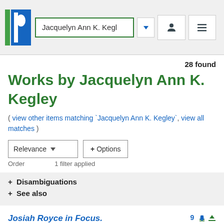Jacquelyn Ann K. Kegl
28 found
Works by Jacquelyn Ann K. Kegley
( view other items matching `Jacquelyn Ann K. Kegley`, view all matches )
Relevance ▼   + Options
Order   1 filter applied
+ Disambiguations
+ See also
Josiah Royce in Focus.  9
Jacquelyn Ann K. Kegley - 2008 - Indiana University Press.
+ details